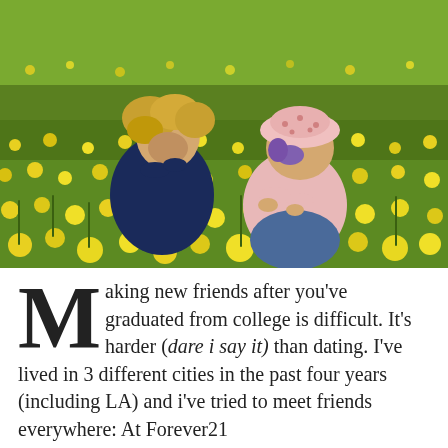[Figure (photo): Two young children crouching in a field of yellow dandelion flowers. One child on the left has curly blonde hair and wears a dark blue jacket; the other on the right wears a pink long-sleeve shirt and a pink polka-dot bucket hat with purple/violet hair visible. They appear to be picking or examining flowers.]
Making new friends after you've graduated from college is difficult. It's harder (dare i say it) than dating. I've lived in 3 different cities in the past four years (including LA) and i've tried to meet friends everywhere: At Forever21